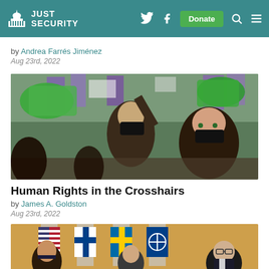Just Security — navigation header with logo, Twitter, Facebook, Donate button, Search, Menu
by Andrea Farrés Jiménez
Aug 23rd, 2022
[Figure (photo): Protesters waving green scarves at a demonstration, wearing black masks, with colorful flags in the background]
Human Rights in the Crosshairs
by James A. Goldston
Aug 23rd, 2022
[Figure (photo): Official ceremony with people and flags including US, Finnish and Swedish flags, a man with glasses visible on the right]